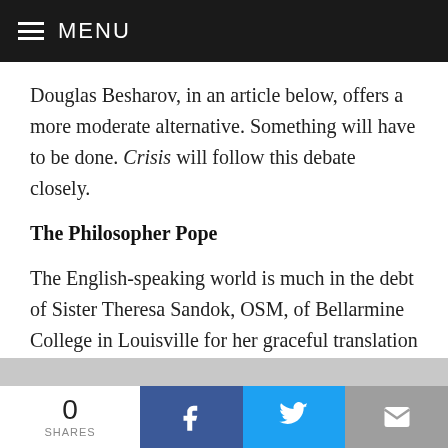MENU
Douglas Besharov, in an article below, offers a more moderate alternative. Something will have to be done. Crisis will follow this debate closely.
The Philosopher Pope
The English-speaking world is much in the debt of Sister Theresa Sandok, OSM, of Bellarmine College in Louisville for her graceful translation of the philosophical essays of Karol Wojtyla, presented at various international
0 SHARES